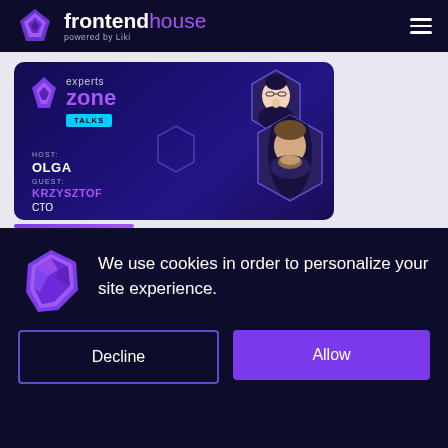frontendhouse powered by Liki
[Figure (screenshot): Experts Zone Talks promotional card with hexagonal photos of host Olga and guest Krzysztof (CTO), dark blue/purple gradient background with geometric elements]
We use cookies in order to personalize your site experience.
Decline
Allow